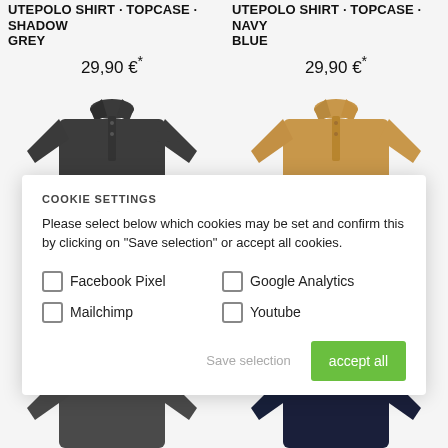UTEPOLO SHIRT - TOPCASE - SHADOW GREY
UTEPOLO SHIRT - TOPCASE - NAVY BLUE
29,90 €*
29,90 €*
[Figure (photo): Dark grey polo shirt, short sleeve, no headshot]
[Figure (photo): Tan/coyote polo shirt, short sleeve, no headshot]
[Figure (photo): Dark grey polo shirt bottom portion]
[Figure (photo): Navy blue polo shirt bottom portion]
COOKIE SETTINGS
Please select below which cookies may be set and confirm this by clicking on "Save selection" or accept all cookies.
Facebook Pixel
Google Analytics
Mailchimp
Youtube
Save selection
accept all